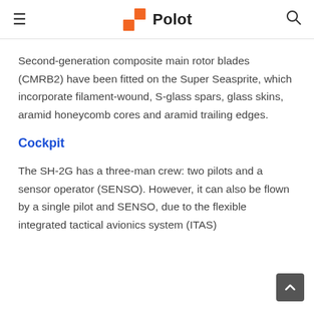≡  Polot  🔍
Second-generation composite main rotor blades (CMRB2) have been fitted on the Super Seasprite, which incorporate filament-wound, S-glass spars, glass skins, aramid honeycomb cores and aramid trailing edges.
Cockpit
The SH-2G has a three-man crew: two pilots and a sensor operator (SENSO). However, it can also be flown by a single pilot and SENSO, due to the flexible integrated tactical avionics system (ITAS)